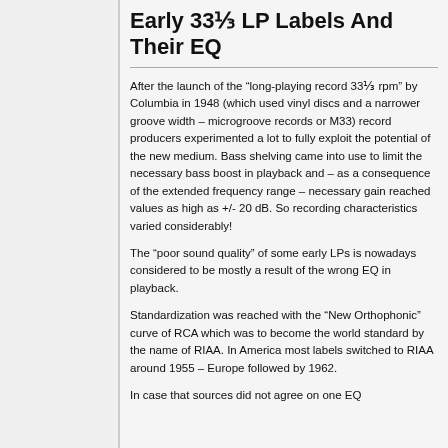Early 33⅓ LP Labels And Their EQ
After the launch of the “long-playing record 33⅓ rpm” by Columbia in 1948 (which used vinyl discs and a narrower groove width – microgroove records or M33) record producers experimented a lot to fully exploit the potential of the new medium. Bass shelving came into use to limit the necessary bass boost in playback and – as a consequence of the extended frequency range – necessary gain reached values as high as +/- 20 dB. So recording characteristics varied considerably!
The “poor sound quality” of some early LPs is nowadays considered to be mostly a result of the wrong EQ in playback.
Standardization was reached with the “New Orthophonic” curve of RCA which was to become the world standard by the name of RIAA. In America most labels switched to RIAA around 1955 – Europe followed by 1962.
In case that sources did not agree on one EQ